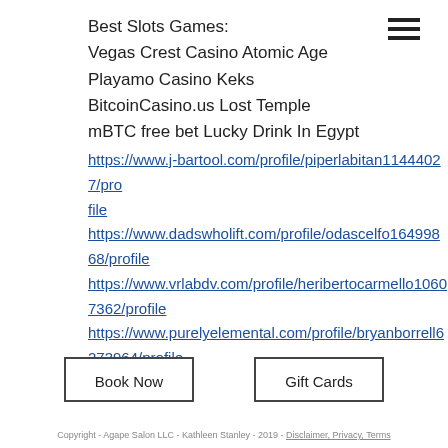Best Slots Games:
Vegas Crest Casino Atomic Age
Playamo Casino Keks
BitcoinCasino.us Lost Temple
mBTC free bet Lucky Drink In Egypt
https://www.j-bartool.com/profile/piperlabitan11444027/profile
https://www.dadswholift.com/profile/odascelf o16499868/profile
https://www.vrlabdv.com/profile/heribertocarmello10607362/profile
https://www.purelyelemental.com/profile/bryanborrell6273964/profile
Book Now
Gift Cards
Copyright - Agape Salon LLC - Kathleen Stanley - 2019 - Disclaimer, Privacy, Terms